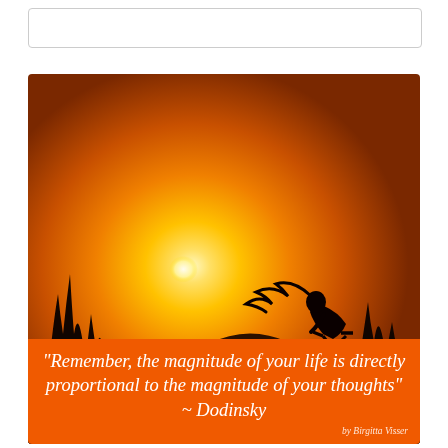[Figure (photo): Silhouette of a person riding a bicycle against a bright golden sunset sky, with trees and landscape in the background. The image has warm orange and yellow tones.]
"Remember, the magnitude of your life is directly proportional to the magnitude of your thoughts" ~ Dodinsky
by Birgitta Visser